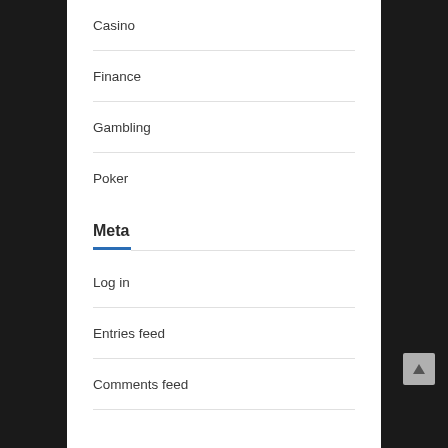Casino
Finance
Gambling
Poker
Meta
Log in
Entries feed
Comments feed
WordPress.org